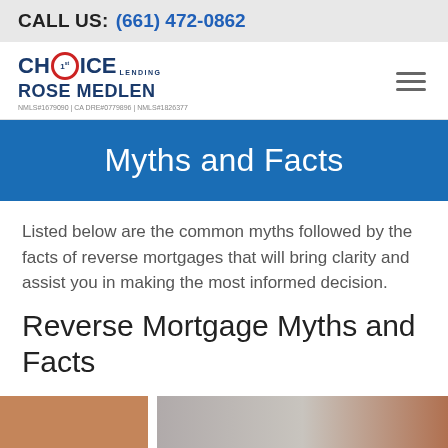CALL US: (661) 472-0862
[Figure (logo): Choice 1st Lending logo with red circle around the '0' in Choice, followed by 'ROSE MEDLEN' in bold navy blue, and NMLS license numbers below]
Myths and Facts
Listed below are the common myths followed by the facts of reverse mortgages that will bring clarity and assist you in making the most informed decision.
Reverse Mortgage Myths and Facts
[Figure (photo): Bottom strip showing partial photos of houses/buildings]